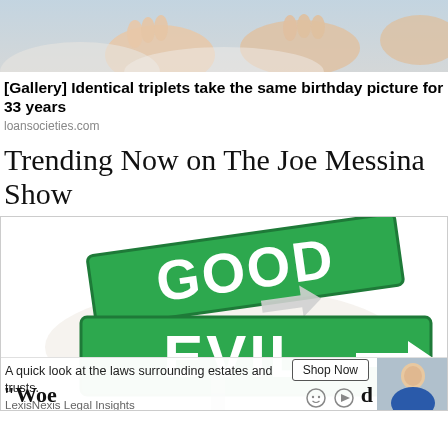[Figure (photo): Top portion of an image showing what appears to be babies or young children lying down, partially cropped]
[Gallery] Identical triplets take the same birthday picture for 33 years
loansocieties.com
Trending Now on The Joe Messina Show
[Figure (photo): Street sign intersection showing two green signs: 'GOOD' on top and 'EVIL' on bottom with a white arrow pointing right]
A quick look at the laws surrounding estates and trusts. LexisNexis Legal Insights
Shop Now
"Woe
d